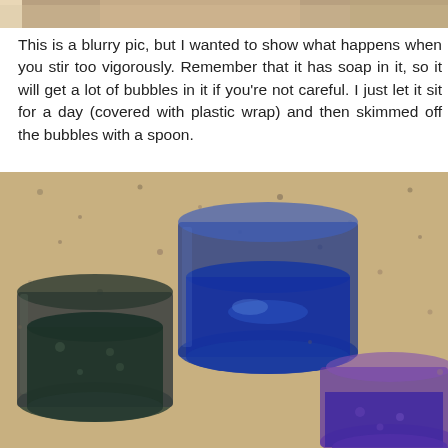[Figure (photo): Top portion of a cropped photo showing a granite countertop with some items at the very top edge.]
This is a blurry pic, but I wanted to show what happens when you stir too vigorously. Remember that it has soap in it, so it will get a lot of bubbles in it if you're not careful. I just let it sit for a day (covered with plastic wrap) and then skimmed off the bubbles with a spoon.
[Figure (photo): Photo of three glass cups on a granite countertop, each containing colored liquid: a dark green/teal cup on the left, a blue liquid cup in the center, and a purple/pink cup partially visible on the bottom right.]